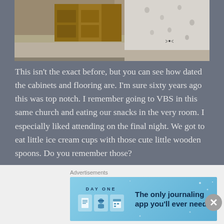[Figure (photo): Interior photo showing dated kitchen cabinets and flooring in what appears to be a church hall, with drywall visible on the right side]
This isn't the exact before, but you can see how dated the cabinets and flooring are. I'm sure sixty years ago this was top notch. I remember going to VBS in this same church and eating our snacks in the very room. I especially liked attending on the final night. We got to eat little ice cream cups with those cute little wooden spoons. Do you remember those?
Anyhow, the flooring and the cabinets are both original, as you can clearly see. The wall was updated about
Advertisements
[Figure (screenshot): Advertisement for DAY ONE journaling app with blue background showing app icons and tagline 'The only journaling app you'll ever need.']